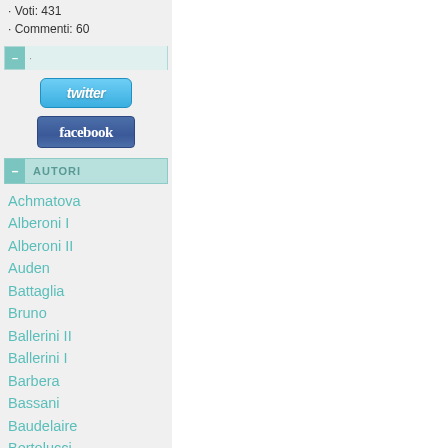Voti: 431
Commenti: 60
AUTORI
Achmatova
Alberoni I
Alberoni II
Auden
Battaglia
Bruno
Ballerini II
Ballerini I
Barbera
Bassani
Baudelaire
Bertolucci
Betocchi
Bukowski
Calvino
Caproni
Cardarelli
Cechov
Cohen